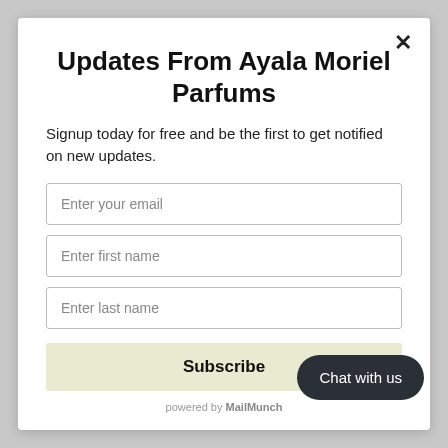Updates From Ayala Moriel Parfums
Signup today for free and be the first to get notified on new updates.
Enter your email
Enter first name
Enter last name
Subscribe
powered by MailMunch